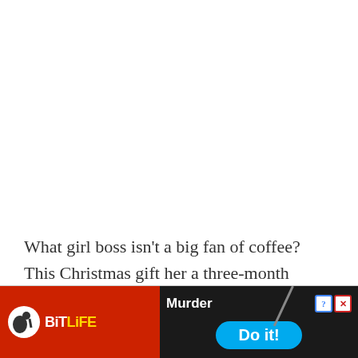What girl boss isn't a big fan of coffee? This Christmas gift her a three-month subscription to Grounds and Hounds Coffee, which has a ton of orga... hot d...ll...
[Figure (screenshot): BitLife mobile game advertisement banner showing the BitLife logo on a red background on the left, and a dark right section with 'Murder' text, a blue 'Do it!' button, diagonal decorative line, and close/info buttons.]